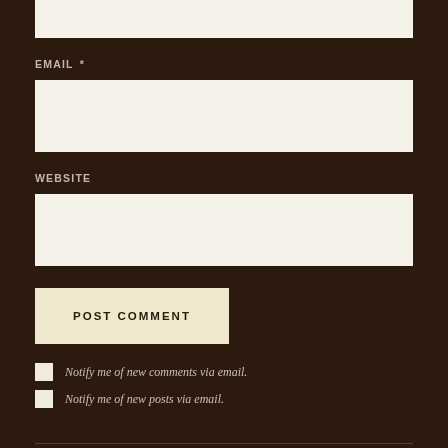[Figure (screenshot): Partial view of a top input field (text box) cut off at the top of the page, on a dark brown wood-textured background.]
EMAIL *
[Figure (screenshot): Empty email input text field with light cream background.]
WEBSITE
[Figure (screenshot): Empty website input text field with light cream background.]
POST COMMENT
Notify me of new comments via email.
Notify me of new posts via email.